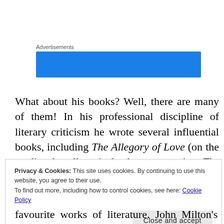[Figure (other): Blue advertisement banner with label 'Advertisements' above it]
What about his books? Well, there are many of them! In his professional discipline of literary criticism he wrote several influential books, including The Allegory of Love (on the medieval allegorical love poem), The Discarded Image (an introduction to the world view of
Privacy & Cookies: This site uses cookies. By continuing to use this website, you agree to their use.
To find out more, including how to control cookies, see here: Cookie Policy
Close and accept
favourite works of literature. John Milton's famous